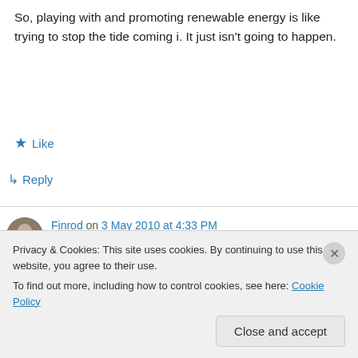So, playing with and promoting renewable energy is like trying to stop the tide coming i. It just isn't going to happen.
★ Like
↳ Reply
Finrod on 3 May 2010 at 4:33 PM
This chart persuades me that we are not going to move back to less dense sources of energy.
Privacy & Cookies: This site uses cookies. By continuing to use this website, you agree to their use.
To find out more, including how to control cookies, see here: Cookie Policy
Close and accept